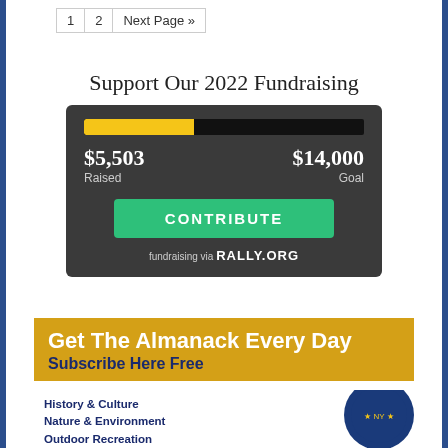| 1 | 2 | Next Page » |
| --- | --- | --- |
Support Our 2022 Fundraising
[Figure (infographic): Fundraising widget with progress bar showing $5,503 raised of $14,000 goal (39% filled, gold bar on dark background), a green CONTRIBUTE button, and 'fundraising via RALLY.ORG' text]
[Figure (infographic): Gold banner reading 'Get The Almanack Every Day / Subscribe Here Free' with dark blue subtitle, and below it a white section listing 'History & Culture', 'Nature & Environment', 'Outdoor Recreation' with New York State seal circle on the right]